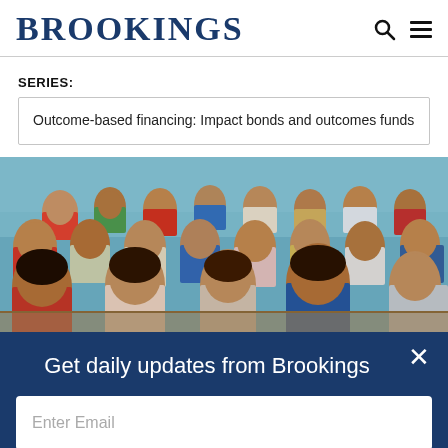BROOKINGS
SERIES:
Outcome-based financing: Impact bonds and outcomes funds
[Figure (photo): Classroom full of children seated at desks, photographed in a school setting with blue walls visible in the background.]
Get daily updates from Brookings
Enter Email
SUBSCRIBE